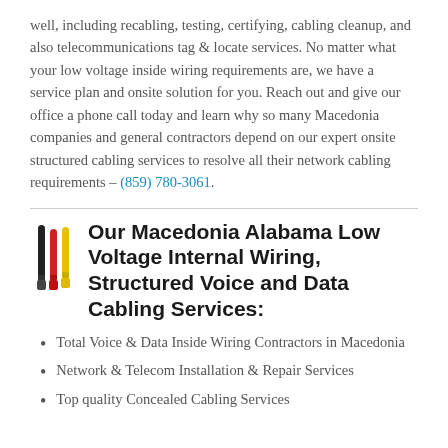well, including recabling, testing, certifying, cabling cleanup, and also telecommunications tag & locate services. No matter what your low voltage inside wiring requirements are, we have a service plan and onsite solution for you. Reach out and give our office a phone call today and learn why so many Macedonia companies and general contractors depend on our expert onsite structured cabling services to resolve all their network cabling requirements – (859) 780-3061.
[Figure (illustration): Three colored cables/wires icon: black, red, and yellow cables side by side]
Our Macedonia Alabama Low Voltage Internal Wiring, Structured Voice and Data Cabling Services:
Total Voice & Data Inside Wiring Contractors in Macedonia
Network & Telecom Installation & Repair Services
Top quality Concealed Cabling Services